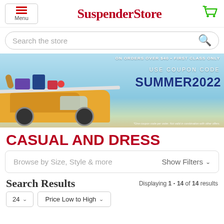SuspenderStore
[Figure (screenshot): Summer 2022 promotional banner with a car loaded with beach gear, coupon code SUMMER2022, on orders over $40 first class only]
CASUAL AND DRESS
Browse by Size, Style & more    Show Filters
Search Results    Displaying 1 - 14 of 14 results
24    Price Low to High